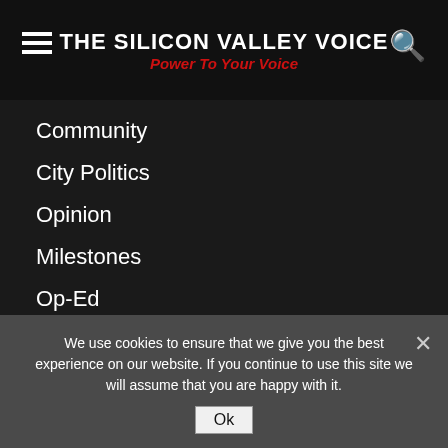THE SILICON VALLEY VOICE | Power To Your Voice
Community
City Politics
Opinion
Milestones
Op-Ed
Letters To The Editor
Schools
Public Safety
Arts & Entertainment
Sports
Business & Tech
We use cookies to ensure that we give you the best experience on our website. If you continue to use this site we will assume that you are happy with it.
Ok